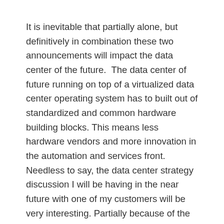It is inevitable that partially alone, but definitively in combination these two announcements will impact the data center of the future.  The data center of future running on top of a virtualized data center operating system has to built out of standardized and common hardware building blocks. This means less hardware vendors and more innovation in the automation and services front.  Needless to say, the data center strategy discussion I will be having in the near future with one of my customers will be very interesting. Partially because of the vendors that will be in the room and partially because of how the customer will be reacting to each of them based on these announcements.